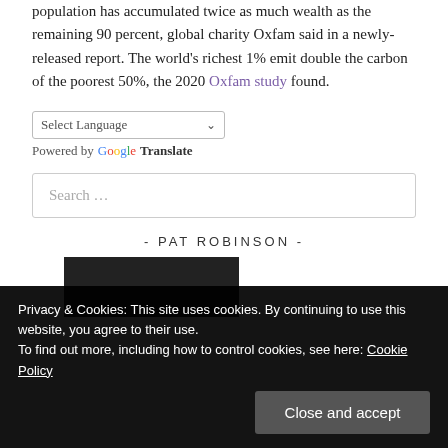population has accumulated twice as much wealth as the remaining 90 percent, global charity Oxfam said in a newly-released report. The world's richest 1% emit double the carbon of the poorest 50%, the 2020 Oxfam study found.
[Figure (other): Language selector widget with 'Select Language' dropdown and 'Powered by Google Translate' label]
[Figure (other): Search box with placeholder text 'Search ...']
- PAT ROBINSON -
[Figure (photo): Partially visible dark photo strip at bottom of page, overlaid by cookie consent banner]
Privacy & Cookies: This site uses cookies. By continuing to use this website, you agree to their use.
To find out more, including how to control cookies, see here: Cookie Policy